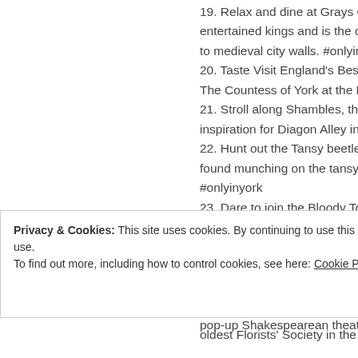19. Relax and dine at Grays Court, this entertained kings and is the only hotel to medieval city walls. #onlyinyork
20. Taste Visit England's Best Afternoon The Countess of York at the National R
21. Stroll along Shambles, the oldest s inspiration for Diagon Alley in the Har
22. Hunt out the Tansy beetle in the M found munching on the tansy leaves. #onlyinyork
23. Dare to join the Bloody Tour of Yor VisitEngland Tourism Superstar award
24. Place your bets at York Racecourse Group 1 Juddmonte International is ra thoroughbred horse races across the
25. To be or not to be?… this summer pop-up Shakespearean theatre in Eur
Privacy & Cookies: This site uses cookies. By continuing to use this website, you agree to their use.
To find out more, including how to control cookies, see here: Cookie Policy
Close and accept
oldest Florists' Society in the World. #o